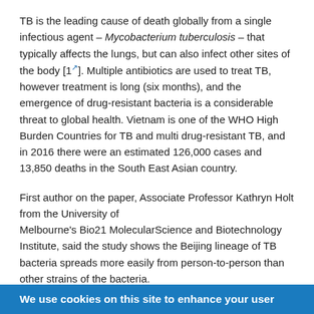TB is the leading cause of death globally from a single infectious agent – Mycobacterium tuberculosis – that typically affects the lungs, but can also infect other sites of the body [1]. Multiple antibiotics are used to treat TB, however treatment is long (six months), and the emergence of drug-resistant bacteria is a considerable threat to global health. Vietnam is one of the WHO High Burden Countries for TB and multi drug-resistant TB, and in 2016 there were an estimated 126,000 cases and 13,850 deaths in the South East Asian country.
First author on the paper, Associate Professor Kathryn Holt from the University of Melbourne's Bio21 MolecularScience and Biotechnology Institute, said the study shows the Beijing lineage of TB bacteria spreads more easily from person-to-person than other strains of the bacteria.
"Contact tracing – looking for early signs of TB infection in people who have been in close contact with TB patients, and
We use cookies on this site to enhance your user